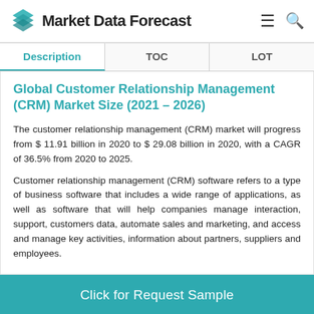Market Data Forecast
| Description | TOC | LOT |
| --- | --- | --- |
Global Customer Relationship Management (CRM) Market Size (2021 – 2026)
The customer relationship management (CRM) market will progress from $ 11.91 billion in 2020 to $ 29.08 billion in 2020, with a CAGR of 36.5% from 2020 to 2025.
Customer relationship management (CRM) software refers to a type of business software that includes a wide range of applications, as well as software that will help companies manage interaction, support, customers data, automate sales and marketing, and access and manage key activities, information about partners, suppliers and employees.
Click for Request Sample